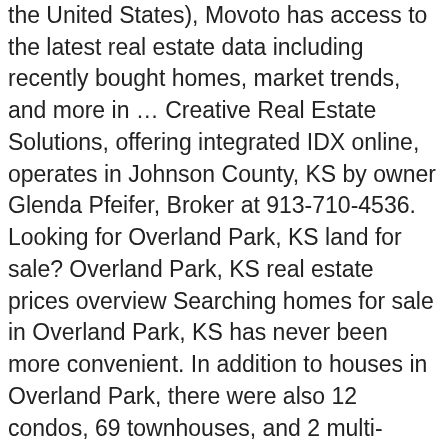the United States), Movoto has access to the latest real estate data including recently bought homes, market trends, and more in … Creative Real Estate Solutions, offering integrated IDX online, operates in Johnson County, KS by owner Glenda Pfeifer, Broker at 913-710-4536. Looking for Overland Park, KS land for sale? Overland Park, KS real estate prices overview Searching homes for sale in Overland Park, KS has never been more convenient. In addition to houses in Overland Park, there were also 12 condos, 69 townhouses, and 2 multi-family units for sale in Overland Park last month. Kansas City, Leawood, Lenexa, Mission, Olathe, Overland Park, Prairie Village, Shawnee, Shawnee Mission, Stilwell Awards Over 50 Pick of the Parade award winning homes Browse through our real estate listings in Overland Park, KS. Also review up-to-date market research and local market conditions as well as neighborhood and school information. Buying a home with swimming pool is a popular choice. Browse 17 Overland Park, KS luxury real estate listings, priced over $1,000,000. Bash &